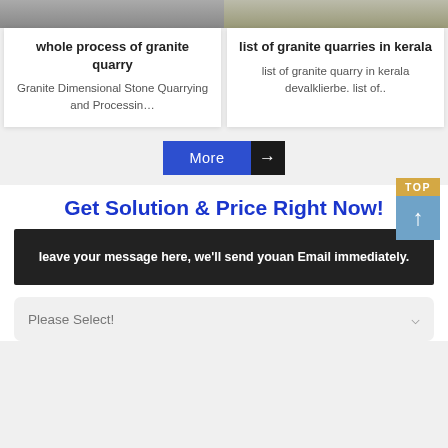[Figure (photo): Two cropped photos side by side at top — left shows a granite quarry scene, right shows yellow machinery on stone/gravel.]
whole process of granite quarry
Granite Dimensional Stone Quarrying and Processin…
list of granite quarries in kerala
list of granite quarry in kerala devalklierbe. list of..
More →
[Figure (other): TOP button with upward arrow — orange/tan label 'TOP' above a blue-gray box with white up arrow.]
Get Solution & Price Right Now!
leave your message here, we'll send youan Email immediately.
Please Select!